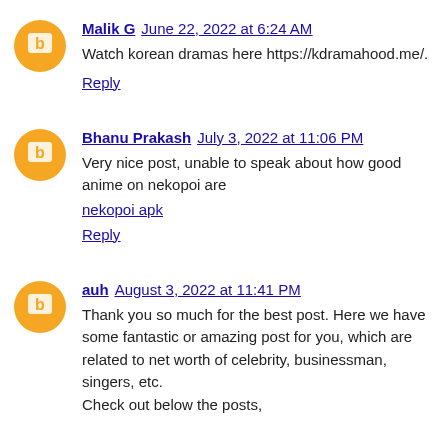Malik G  June 22, 2022 at 6:24 AM
Watch korean dramas here https://kdramahood.me/.
Reply
Bhanu Prakash  July 3, 2022 at 11:06 PM
Very nice post, unable to speak about how good anime on nekopoi are
nekopoi apk
Reply
auh  August 3, 2022 at 11:41 PM
Thank you so much for the best post. Here we have some fantastic or amazing post for you, which are related to net worth of celebrity, businessman, singers, etc.
Check out below the posts,